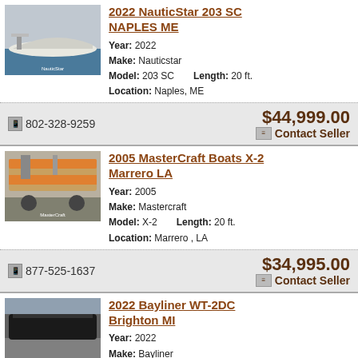2022 NauticStar 203 SC NAPLES ME
Year: 2022
Make: Nauticstar
Model: 203 SC  Length: 20 ft.
Location: Naples, ME
802-328-9259   $44,999.00  Contact Seller
2005 MasterCraft Boats X-2 Marrero LA
Year: 2005
Make: Mastercraft
Model: X-2  Length: 20 ft.
Location: Marrero , LA
877-525-1637   $34,995.00  Contact Seller
2022 Bayliner WT-2DC Brighton MI
Year: 2022
Make: Bayliner
Model: WT-2DC  Length: 20 ft.
Location: Brighton, MI
517-546-3774   $85,426.00